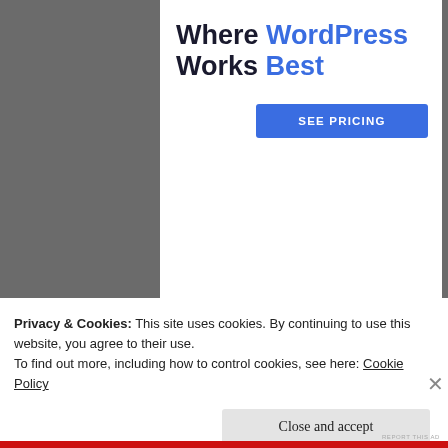[Figure (screenshot): WordPress advertisement banner reading 'Where WordPress Works Best' with a 'SEE PRICING' blue button]
REPORT THIS AD
[Figure (photo): Circular avatar with a white flower on dark background for user Growingseedsoflove]
Growingseedsoflove
OCTOBER 6, 2019 AT 4:24 AM
Wow, thank you. I don't know what to say
Privacy & Cookies: This site uses cookies. By continuing to use this website, you agree to their use.
To find out more, including how to control cookies, see here: Cookie Policy
Close and accept